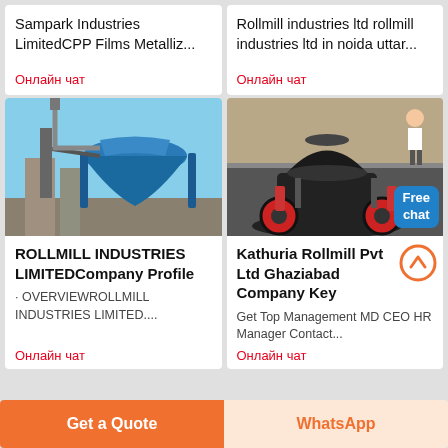Sampark Industries LimitedCPP Films Metalliz...
Онлайн чат
Rollmill industries ltd rollmill industries ltd in noida uttar...
Онлайн чат
[Figure (photo): Blue industrial milling/grinding machine outdoors against sky]
ROLLMILL INDUSTRIES LIMITEDCompany Profile
· OVERVIEWROLLMILL INDUSTRIES LIMITED....
Онлайн чат
[Figure (photo): Black and red industrial cone crusher machine in factory, with Free chat badge overlay]
Kathuria Rollmill Pvt Ltd Ghaziabad Company Key
Get Top Management MD CEO HR Manager Contact...
Онлайн чат
Get a Quote
WhatsApp